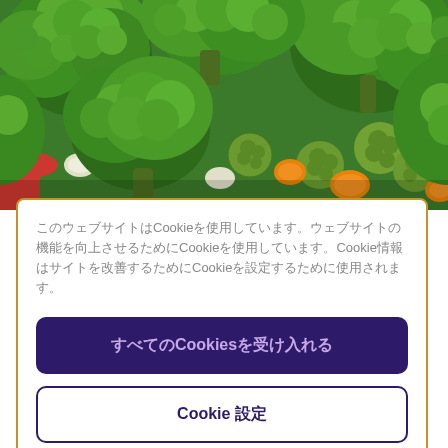[Figure (photo): Close-up photo of a bowl of mixed steamed vegetables including broccoli, brussels sprouts, carrots, and other vegetables]
このウェブサイトはCookieを使用しています。ウェブサイトの機能を向上させるためにCookieを使用しています。Cookie情報はサイトを改善するためにCookieを設定するために使用されます。
すべてのCookiesを受け入れる
Cookie 設定